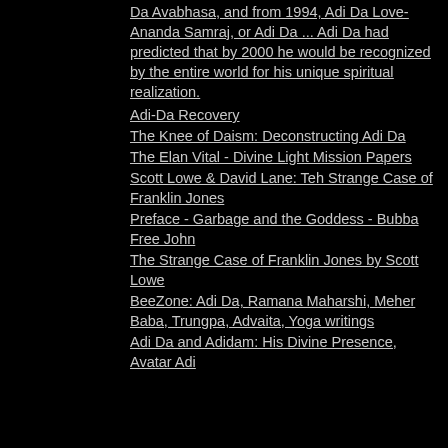Da Avabhasa, and from 1994, Adi Da Love-Ananda Samraj, or Adi Da ... Adi Da had predicted that by 2000 he would be recognized by the entire world for his unique spiritual realization.
Adi-Da Recovery
The Knee of Daism: Deconstructing Adi Da
The Elan Vital - Divine Light Mission Papers
Scott Lowe & David Lane: Teh Strange Case of Franklin Jones
Preface - Garbage and the Goddess - Bubba Free John
The Strange Case of Franklin Jones by Scott Lowe
BeeZone: Adi Da, Ramana Maharshi, Meher Baba, Trungpa, Advaita, Yoga writings
Adi Da and Adidam: His Divine Presence, Avatar Adi